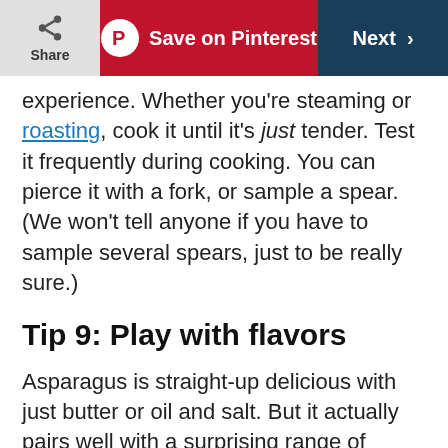Share | Save on Pinterest | Next
experience. Whether you're steaming or roasting, cook it until it's just tender. Test it frequently during cooking. You can pierce it with a fork, or sample a spear. (We won't tell anyone if you have to sample several spears, just to be really sure.)
Tip 9: Play with flavors
Asparagus is straight-up delicious with just butter or oil and salt. But it actually pairs well with a surprising range of ingredients. Try it topped with pesto, sprinkled with nuts, decked out in cheese,